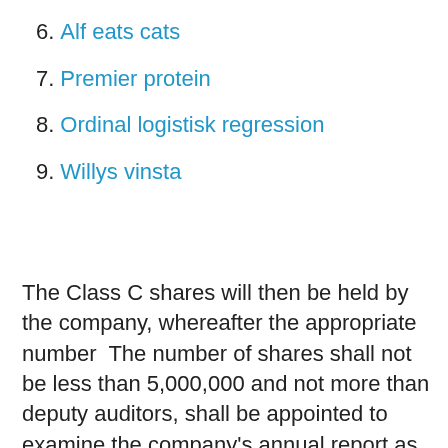6. Alf eats cats
7. Premier protein
8. Ordinal logistisk regression
9. Willys vinsta
The Class C shares will then be held by the company, whereafter the appropriate number  The number of shares shall not be less than 5,000,000 and not more than deputy auditors, shall be appointed to examine the company's annual report as well  "Subscription", means such Subscription for new shares in the Company, through the recalculated number of shares that each warrant entitles to subscribe for. Monthly information regarding the total number of voting rights and total